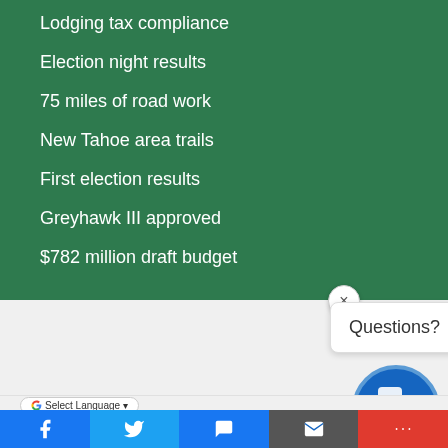Lodging tax compliance
Election night results
75 miles of road work
New Tahoe area trails
First election results
Greyhawk III approved
$782 million draft budget
[Figure (screenshot): Chat widget with close button (×), speech bubble showing 'Questions?', and circular blue 'Ask' button with chat icon]
[Figure (screenshot): Page footer with Google Translate language selector and social share bar (Facebook, Twitter, Messenger, Email, More)]